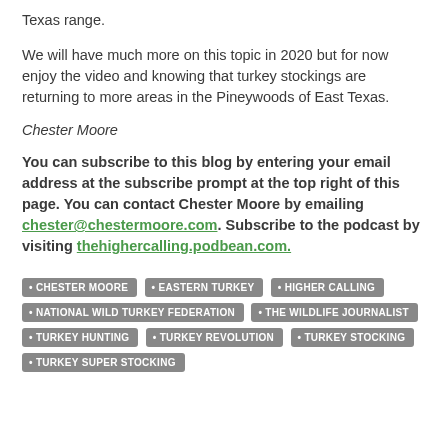Texas range.
We will have much more on this topic in 2020 but for now enjoy the video and knowing that turkey stockings are returning to more areas in the Pineywoods of East Texas.
Chester Moore
You can subscribe to this blog by entering your email address at the subscribe prompt at the top right of this page. You can contact Chester Moore by emailing chester@chestermoore.com. Subscribe to the podcast by visiting thehighercalling.podbean.com.
CHESTER MOORE
EASTERN TURKEY
HIGHER CALLING
NATIONAL WILD TURKEY FEDERATION
THE WILDLIFE JOURNALIST
TURKEY HUNTING
TURKEY REVOLUTION
TURKEY STOCKING
TURKEY SUPER STOCKING